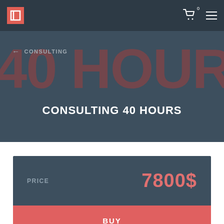Navigation bar with logo, cart icon, and hamburger menu
CONSULTING 40 HOURS
← CONSULTING
| PRICE | 7800$ |
| --- | --- |
| BUY |  |